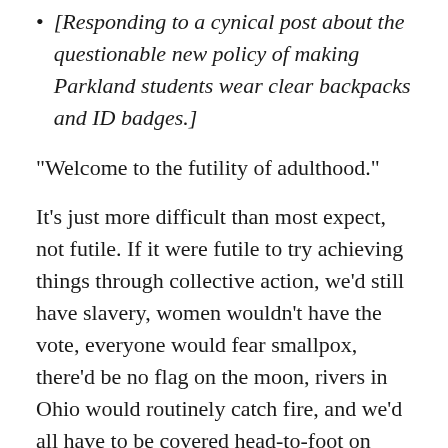[Responding to a cynical post about the questionable new policy of making Parkland students wear clear backpacks and ID badges.]
“Welcome to the futility of adulthood.”
It’s just more difficult than most expect, not futile. If it were futile to try achieving things through collective action, we’d still have slavery, women wouldn’t have the vote, everyone would fear smallpox, there’d be no flag on the moon, rivers in Ohio would routinely catch fire, and we’d all have to be covered head-to-foot on sunny days because of ozone depletion.
@Emma4Change is not the first E González